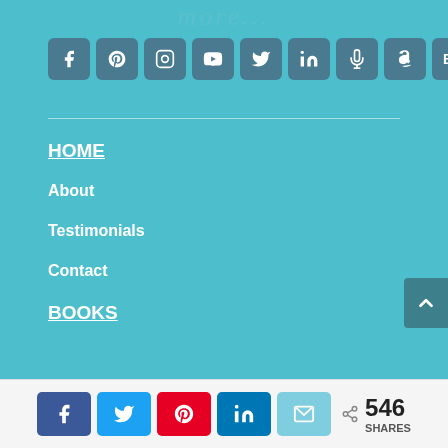more...
[Figure (infographic): Row of social media icon buttons: Facebook, Pinterest, Instagram, YouTube, Twitter, LinkedIn, Microphone/Podcast, Amazon, BB]
HOME
About
Testimonials
Contact
BOOKS
[Figure (infographic): Social share bar with Facebook, Twitter, Pinterest, LinkedIn, Email buttons and 546 SHARES count]